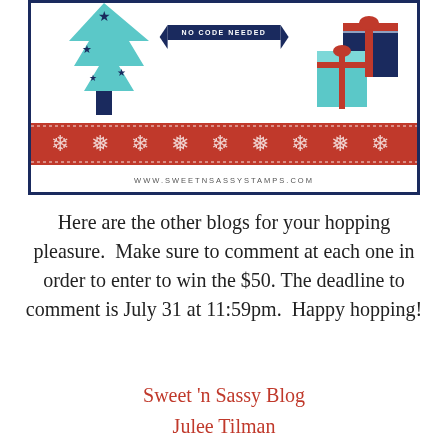[Figure (illustration): Sweet 'n Sassy Stamps promotional banner with Christmas theme: Christmas tree on left with teal triangular layers and navy stars, 'NO CODE NEEDED' navy ribbon banner in center top, teal gift boxes with red ribbons on right, red Nordic/fair-isle pattern band, and URL www.sweetnsassystamps.com at bottom.]
Here are the other blogs for your hopping pleasure.  Make sure to comment at each one in order to enter to win the $50. The deadline to comment is July 31 at 11:59pm.  Happy hopping!
Sweet ‘n Sassy Blog
Julee Tilman
Roy Gerard